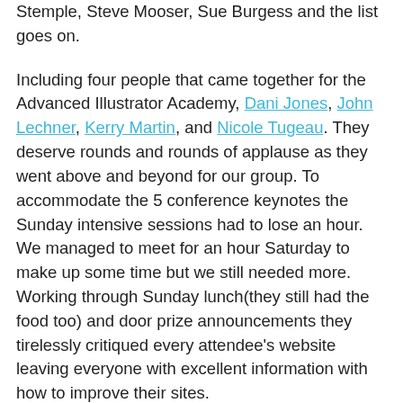Stemple, Steve Mooser, Sue Burgess and the list goes on.
Including four people that came together for the Advanced Illustrator Academy, Dani Jones, John Lechner, Kerry Martin, and Nicole Tugeau. They deserve rounds and rounds of applause as they went above and beyond for our group. To accommodate the 5 conference keynotes the Sunday intensive sessions had to lose an hour. We managed to meet for an hour Saturday to make up some time but we still needed more. Working through Sunday lunch(they still had the food too) and door prize announcements they tirelessly critiqued every attendee's website leaving everyone with excellent information with how to improve their sites.
The day was not without humor. Along with time constraints we also went through 3 projectors. Nothing broke we just had to switch a few times for varying